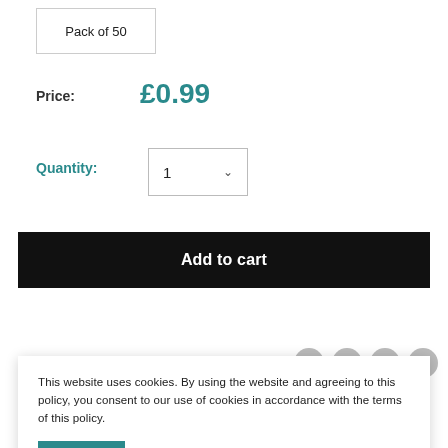Pack of 50
Price: £0.99
Quantity: 1
Add to cart
This website uses cookies. By using the website and agreeing to this policy, you consent to our use of cookies in accordance with the terms of this policy.
Accept
Description